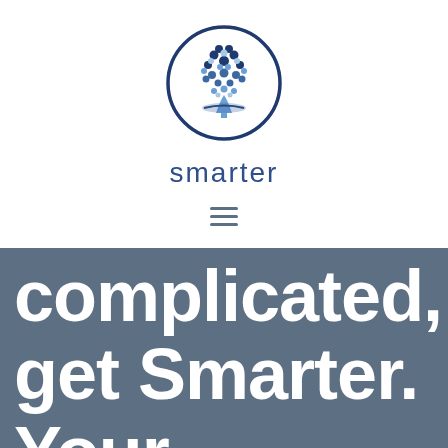[Figure (logo): Smarter company logo: a circular tree made of blue dots and circles on branches, with a book-like base, enclosed in a dark blue circle outline.]
smarter
[Figure (other): Hamburger menu icon: three horizontal dark grey lines stacked vertically.]
complicated, get Smarter. Your